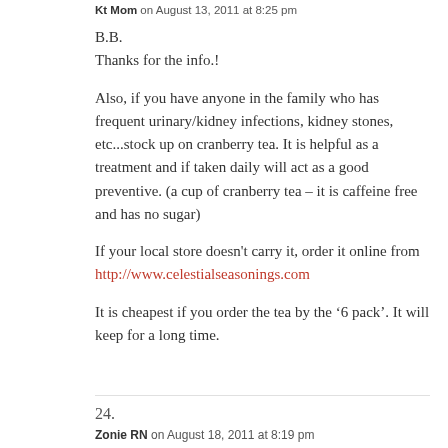Kt Mom on August 13, 2011 at 8:25 pm
B.B.
Thanks for the info.!
Also, if you have anyone in the family who has frequent urinary/kidney infections, kidney stones, etc...stock up on cranberry tea. It is helpful as a treatment and if taken daily will act as a good preventive. (a cup of cranberry tea – it is caffeine free and has no sugar)
If your local store doesn't carry it, order it online from http://www.celestialseasonings.com
It is cheapest if you order the tea by the '6 pack'. It will keep for a long time.
24.
Zonie RN on August 18, 2011 at 8:19 pm